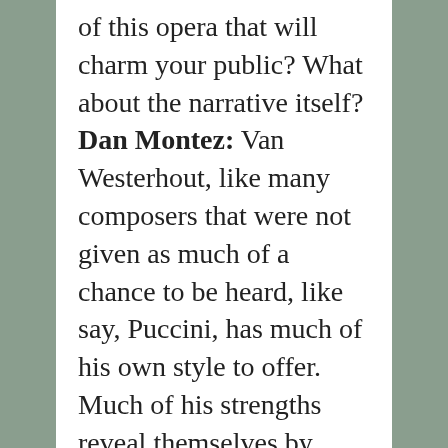of this opera that will charm your public? What about the narrative itself? Dan Montez: Van Westerhout, like many composers that were not given as much of a chance to be heard, like say, Puccini, has much of his own style to offer.  Much of his strengths reveal themselves by working out the music.  First, we work out the musical issues and just sing through the piece. Phrasing and interpretation have to be explored during this